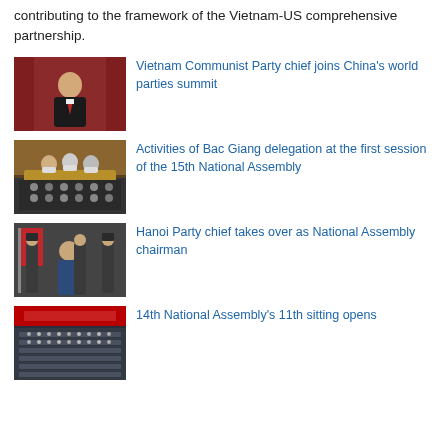contributing to the framework of the Vietnam-US comprehensive partnership.
[Figure (photo): Elderly man in suit and red tie seated at official podium with red curtain background]
Vietnam Communist Party chief joins China's world parties summit
[Figure (photo): Officials wearing masks seated at conference table in large assembly hall]
Activities of Bac Giang delegation at the first session of the 15th National Assembly
[Figure (photo): Official in suit raising hand in oath with uniformed honor guard and red flag in assembly hall]
Hanoi Party chief takes over as National Assembly chairman
[Figure (photo): Wide shot of large assembly hall filled with delegates]
14th National Assembly's 11th sitting opens